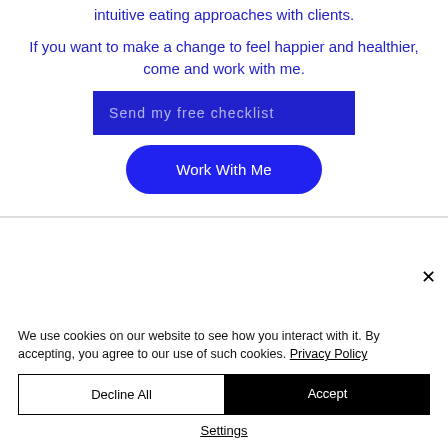intuitive eating approaches with clients.
If you want to make a change to feel happier and healthier, come and work with me.
[Figure (screenshot): Blue rectangle input field with placeholder text 'Send my free checklist']
[Figure (screenshot): Blue rounded button with white text 'Work With Me']
We use cookies on our website to see how you interact with it. By accepting, you agree to our use of such cookies. Privacy Policy
[Figure (screenshot): Two buttons: 'Decline All' (white background, black border) and 'Accept' (black background, white text)]
Settings